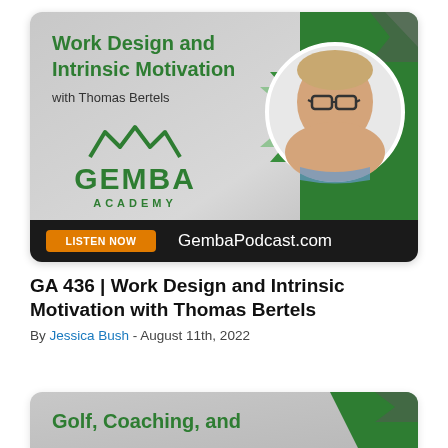[Figure (screenshot): Gemba Academy podcast card for 'Work Design and Intrinsic Motivation with Thomas Bertels'. Gray/green background with Gemba Academy logo, circular headshot of Thomas Bertels (older bald man with glasses), green chevron design elements, orange 'LISTEN NOW' button, and 'GembaPodcast.com' text on dark bottom bar.]
GA 436 | Work Design and Intrinsic Motivation with Thomas Bertels
By Jessica Bush - August 11th, 2022
[Figure (screenshot): Partial Gemba Academy podcast card showing 'Golf, Coaching, and' text at top, gray/green background with green top-right corner element, similar styling to the card above.]